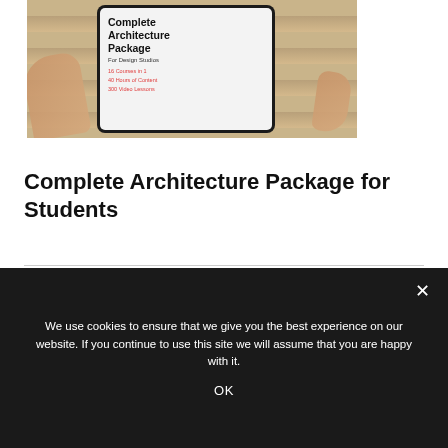[Figure (photo): Hands holding a tablet displaying 'Complete Architecture Package For Design Studios - 16 Courses in 1, 40 Hours of Content, 300 Video Lessons' on a wooden surface]
Complete Architecture Package for Students
[Figure (photo): Partial view of a second course image with purple and gray areas]
We use cookies to ensure that we give you the best experience on our website. If you continue to use this site we will assume that you are happy with it.
OK